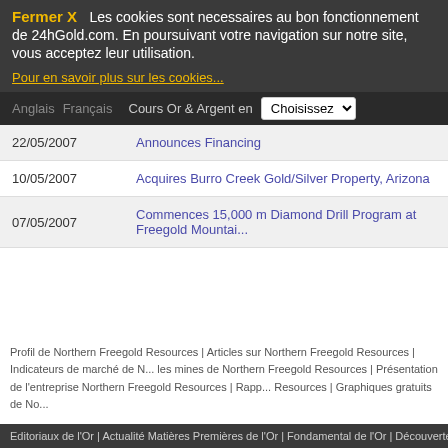Fermer X  Les cookies sont necessaires au bon fonctionnement de 24hGold.com. En poursuivant votre navigation sur notre site, vous acceptez leur utilisation.
Pour en savoir plus sur les cookies...
Anglais  Français  Cours Or & Argent en  Choisissez
| Date | Headline |
| --- | --- |
| 22/05/2007 | Announces Financing |
| 10/05/2007 | Acquires Burro Creek Gold/Silver Property, Arizona |
| 07/05/2007 | Commences 15,000 m Diamond Drill Program at Freegold Mountai... |
Publication de commentaires terminé
Profil de Northern Freegold Resources | Articles sur Northern Freegold Resources | Indicateurs de marché de N... les mines de Northern Freegold Resources | Présentation de l'entreprise Northern Freegold Resources | Rapp... Resources | Graphiques gratuits de No...
Editoriaux de l'Or | Actualité Matières Premières de l'Or | Fondamental de l'Or | Découvertes...